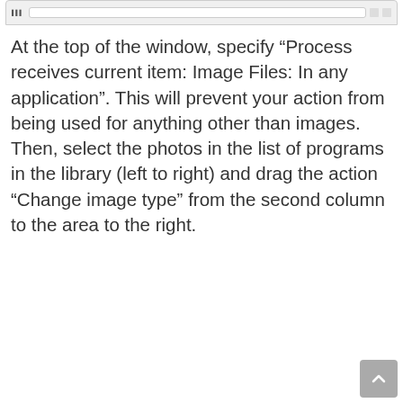[Figure (screenshot): Top portion of a macOS application window showing a toolbar/title bar strip]
At the top of the window, specify “Process receives current item: Image Files: In any application”. This will prevent your action from being used for anything other than images. Then, select the photos in the list of programs in the library (left to right) and drag the action “Change image type” from the second column to the area to the right.